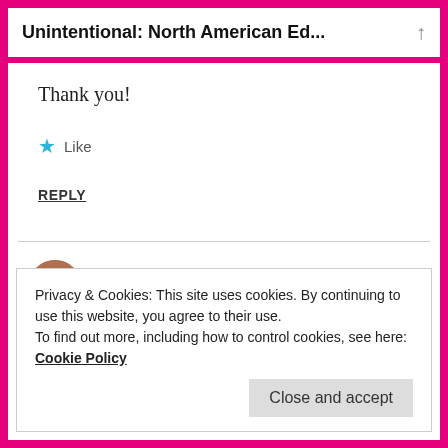Unintentional: North American Ed...
Thank you!
★ Like
REPLY
lisboeta1   SEPTEMBER 20, 2016 AT 9:09 AM
Privacy & Cookies: This site uses cookies. By continuing to use this website, you agree to their use.
To find out more, including how to control cookies, see here: Cookie Policy
Close and accept
▲ Like